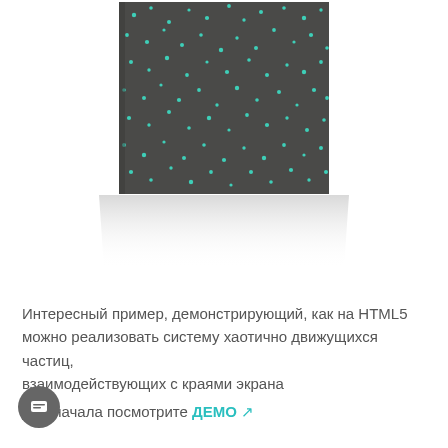[Figure (illustration): A dark gray rectangular panel tilted in perspective with glowing teal/green scattered dots (particles) on its surface, with a reflective white surface below showing the panel's reflection fading into white.]
Интересный пример, демонстрирующий, как на HTML5 можно реализовать систему хаотично движущихся частиц, взаимодействующих с краями экрана
Для начала посмотрите ДЕМО [icon]